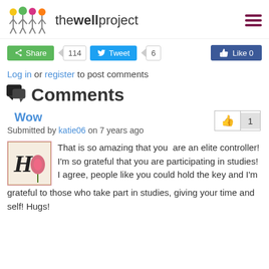the well project
[Figure (logo): The Well Project logo with colorful flower/person icons and text 'thewellproject']
Share 114   Tweet 6   Like 0
Log in or register to post comments
Comments
Wow
Submitted by katie06 on 7 years ago
That is so amazing that you  are an elite controller! I'm so grateful that you are participating in studies! I agree, people like you could hold the key and I'm grateful to those who take part in studies, giving your time and self! Hugs!